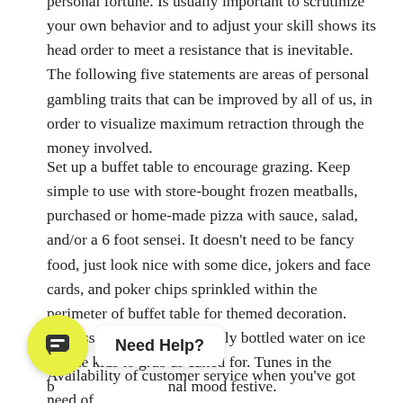personal fortune. Is usually important to scrutinize your own behavior and to adjust your skill shows its head order to meet a resistance that is inevitable. The following five statements are areas of personal gambling traits that can be improved by all of us, in order to visualize maximum retraction through the money involved.
Set up a buffet table to encourage grazing. Keep simple to use with store-bought frozen meatballs, purchased or home-made pizza with sauce, salad, and/or a 6 foot sensei. It doesn't need to be fancy food, just look nice with some dice, jokers and face cards, and poker chips sprinkled within the perimeter of buffet table for themed decoration. Possess a big tub of genuinely bottled water on ice for the kids to grab as called for. Tunes in the b[...] nal mood festive.
Availability of customer service when you've got need of